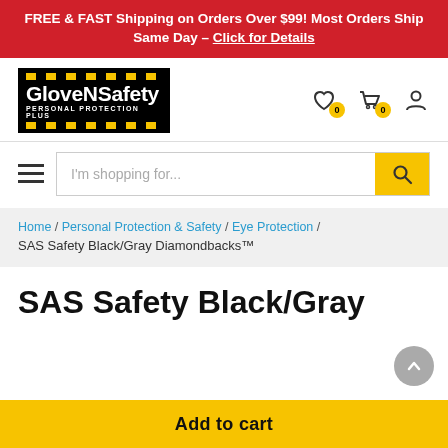FREE & FAST Shipping on Orders Over $99! Most Orders Ship Same Day - Click for Details
[Figure (logo): GloveNSafety Personal Protection Plus logo — black background with yellow diagonal stripes, white text]
I'm shopping for...
Home / Personal Protection & Safety / Eye Protection / SAS Safety Black/Gray Diamondbacks™
SAS Safety Black/Gray
Add to cart